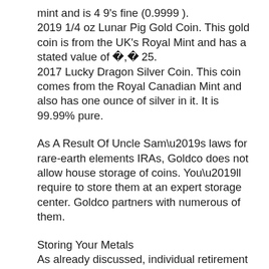mint and is 4 9's fine (0.9999 ).
2019 1/4 oz Lunar Pig Gold Coin. This gold coin is from the UK's Royal Mint and has a stated value of �,� 25.
2017 Lucky Dragon Silver Coin. This coin comes from the Royal Canadian Mint and also has one ounce of silver in it. It is 99.99% pure.
As A Result Of Uncle Sam’s laws for rare-earth elements IRAs, Goldco does not allow house storage of coins. You’ll require to store them at an expert storage center. Goldco partners with numerous of them.
Storing Your Metals
As already discussed, individual retirement account metals can not be stored at your